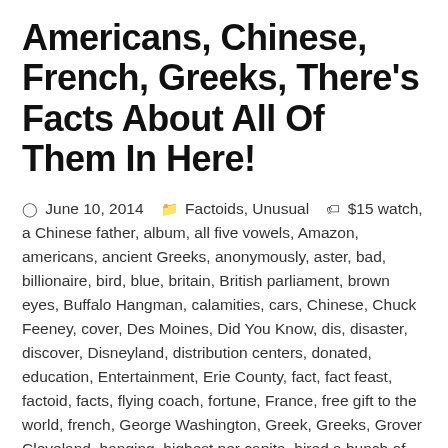Americans, Chinese, French, Greeks, There's Facts About All Of Them In Here!
June 10, 2014   Factoids, Unusual   $15 watch, a Chinese father, album, all five vowels, Amazon, americans, ancient Greeks, anonymously, aster, bad, billionaire, bird, blue, britain, British parliament, brown eyes, Buffalo Hangman, calamities, cars, Chinese, Chuck Feeney, cover, Des Moines, Did You Know, dis, disaster, discover, Disneyland, distribution centers, donated, education, Entertainment, Erie County, fact, fact feast, factoid, facts, flying coach, fortune, France, free gift to the world, french, George Washington, Greek, Greeks, Grover Cleveland, hanging, highest per capita, hired a bunch of assassins, homes, information, Jello consumption, kill, laid off, lingerie store, Main Street, melanin, mid 1800s, Mr Feng, naked